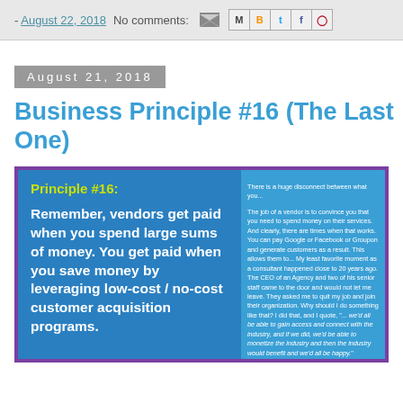- August 22, 2018   No comments:
August 21, 2018
Business Principle #16 (The Last One)
[Figure (infographic): Blue card with purple border showing Principle #16 text on left (yellow label, white body text about vendors and customer acquisition) and right column with smaller white text on blue background describing marketing management concepts.]